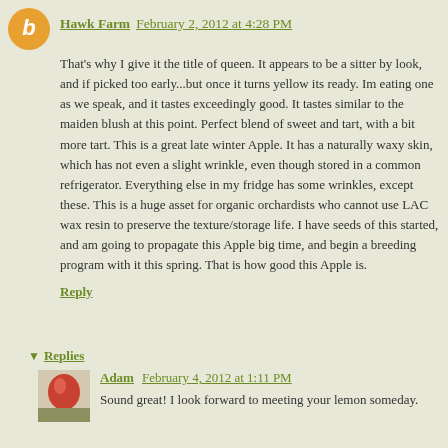Hawk Farm  February 2, 2012 at 4:28 PM
That's why I give it the title of queen. It appears to be a sitter by look, and if picked too early...but once it turns yellow its ready. Im eating one as we speak, and it tastes exceedingly good. It tastes similar to the maiden blush at this point. Perfect blend of sweet and tart, with a bit more tart. This is a great late winter Apple. It has a naturally waxy skin, which has not even a slight wrinkle, even though stored in a common refrigerator. Everything else in my fridge has some wrinkles, except these. This is a huge asset for organic orchardists who cannot use LAC wax resin to preserve the texture/storage life. I have seeds of this started, and am going to propagate this Apple big time, and begin a breeding program with it this spring. That is how good this Apple is.
Reply
Replies
Adam  February 4, 2012 at 1:11 PM
Sound great! I look forward to meeting your lemon someday.
Reply